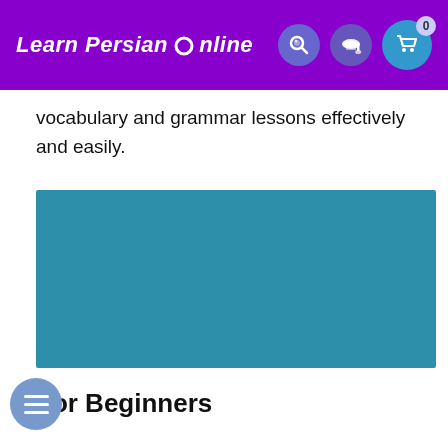Learn Persian Online
vocabulary and grammar lessons effectively and easily.
[Figure (other): Teal/blue rectangular video player embed area]
For Beginners
Lesson 1: Persian alphabet, Part 1, Part